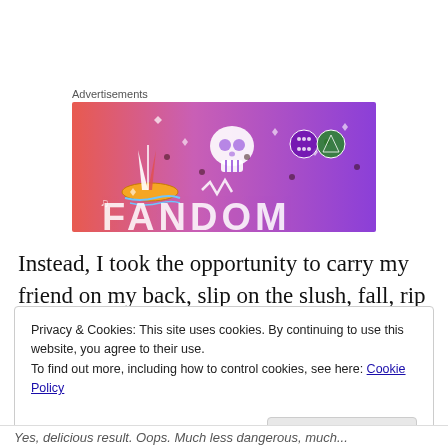Advertisements
[Figure (illustration): Fandom advertisement banner with colorful pink-to-purple gradient background featuring illustrated icons: a sailboat, skull, dice, and decorative elements with the word FANDOM partially visible at the bottom.]
Instead, I took the opportunity to carry my friend on my back, slip on the slush, fall, rip my tights, skin my knees, and bruise both knees and a shin.
Privacy & Cookies: This site uses cookies. By continuing to use this website, you agree to their use.
To find out more, including how to control cookies, see here: Cookie Policy
Close and accept
Yes; delicious result. Oops. Much less dangerous, much...